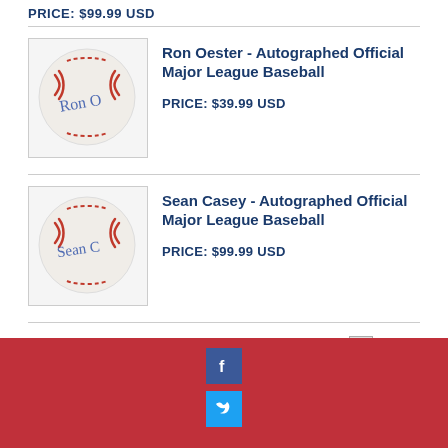PRICE: $99.99 USD
[Figure (photo): Autographed baseball - Ron Oester signature]
Ron Oester - Autographed Official Major League Baseball
PRICE: $39.99 USD
[Figure (photo): Autographed baseball - Sean Casey signature]
Sean Casey - Autographed Official Major League Baseball
PRICE: $99.99 USD
1  2  Next
Facebook and Twitter social media icons